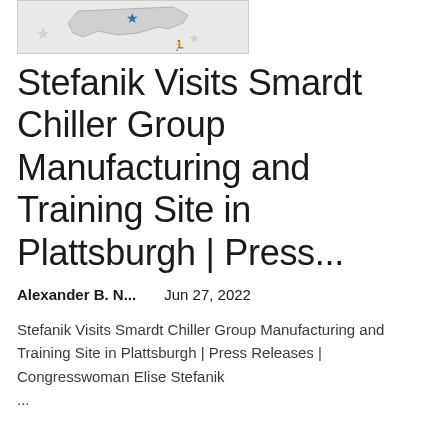[Figure (map): Partial map image showing New York state outline with a blue star marker indicating Plattsburgh location, on a light grey background with surrounding region stars]
Stefanik Visits Smardt Chiller Group Manufacturing and Training Site in Plattsburgh | Press...
Alexander B. N...    Jun 27, 2022
Stefanik Visits Smardt Chiller Group Manufacturing and Training Site in Plattsburgh | Press Releases | Congresswoman Elise Stefanik ...